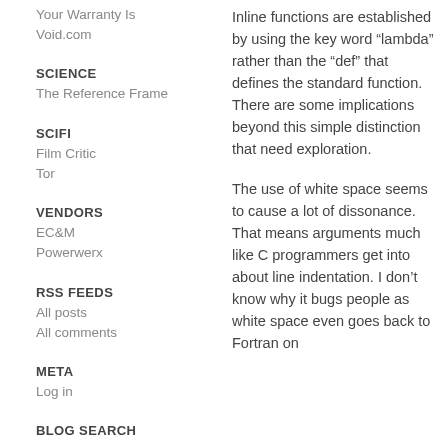Your Warranty Is
Void.com
SCIENCE
The Reference Frame
SCIFI
Film Critic
Tor
VENDORS
EC&M
Powerwerx
RSS FEEDS
All posts
All comments
META
Log in
BLOG SEARCH
Inline functions are established by using the key word “lambda” rather than the “def” that defines the standard function. There are some implications beyond this simple distinction that need exploration.
The use of white space seems to cause a lot of dissonance. That means arguments much like C programmers get into about line indentation. I don’t know why it bugs people as white space even goes back to Fortran on